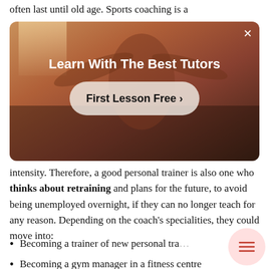often last until old age. Sports coaching is a
[Figure (photo): Advertisement overlay showing a person in a gym/sports setting with warm reddish-brown tones. Contains heading 'Learn With The Best Tutors' and a button 'First Lesson Free >']
intensity. Therefore, a good personal trainer is also one who thinks about retraining and plans for the future, to avoid being unemployed overnight, if they can no longer teach for any reason. Depending on the coach's specialities, they could move into:
Becoming a trainer of new personal tra…
Becoming a gym manager in a fitness centre